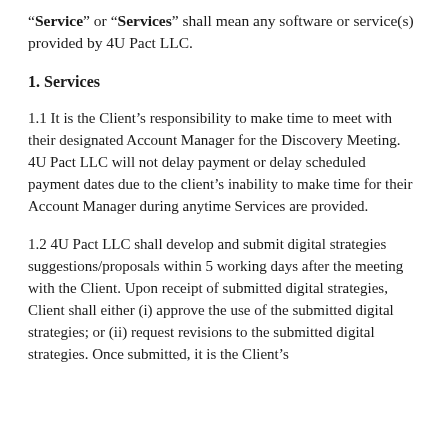“Service” or “Services” shall mean any software or service(s) provided by 4U Pact LLC.
1. Services
1.1 It is the Client’s responsibility to make time to meet with their designated Account Manager for the Discovery Meeting. 4U Pact LLC will not delay payment or delay scheduled payment dates due to the client’s inability to make time for their Account Manager during anytime Services are provided.
1.2 4U Pact LLC shall develop and submit digital strategies suggestions/proposals within 5 working days after the meeting with the Client. Upon receipt of submitted digital strategies, Client shall either (i) approve the use of the submitted digital strategies; or (ii) request revisions to the submitted digital strategies. Once submitted, it is the Client’s